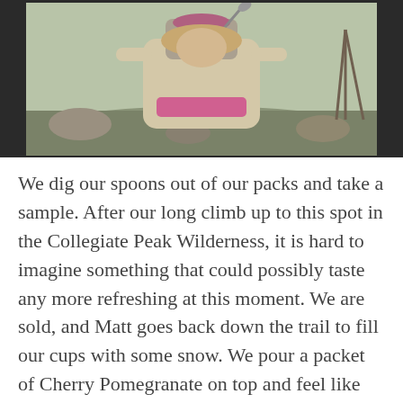[Figure (photo): A person outdoors in a mountainous wilderness setting, crouching and holding a metal camping cup with food, eating with a spoon. Rocky terrain and hills visible in the background. The person wears a light-colored jacket and has a pink item at the waist.]
We dig our spoons out of our packs and take a sample. After our long climb up to this spot in the Collegiate Peak Wilderness, it is hard to imagine something that could possibly taste any more refreshing at this moment. We are sold, and Matt goes back down the trail to fill our cups with some snow. We pour a packet of Cherry Pomegranate on top and feel like two little kids on a summer day